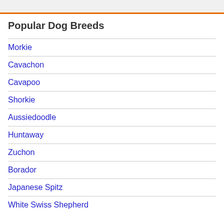Popular Dog Breeds
Morkie
Cavachon
Cavapoo
Shorkie
Aussiedoodle
Huntaway
Zuchon
Borador
Japanese Spitz
White Swiss Shepherd